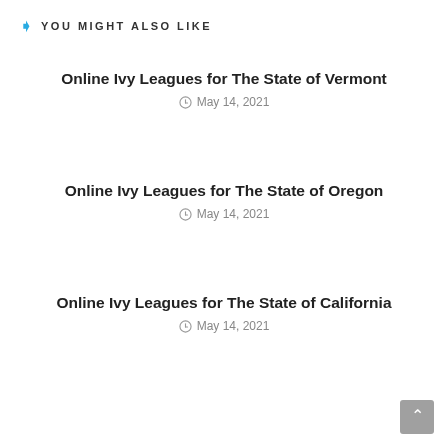YOU MIGHT ALSO LIKE
Online Ivy Leagues for The State of Vermont
May 14, 2021
Online Ivy Leagues for The State of Oregon
May 14, 2021
Online Ivy Leagues for The State of California
May 14, 2021